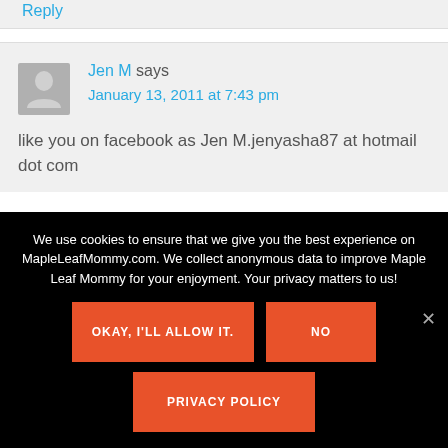Reply
Jen M says
January 13, 2011 at 7:43 pm
like you on facebook as Jen M.jenyasha87 at hotmail dot com
We use cookies to ensure that we give you the best experience on MapleLeafMommy.com. We collect anonymous data to improve Maple Leaf Mommy for your enjoyment. Your privacy matters to us!
OKAY, I'LL ALLOW IT.
NO
PRIVACY POLICY